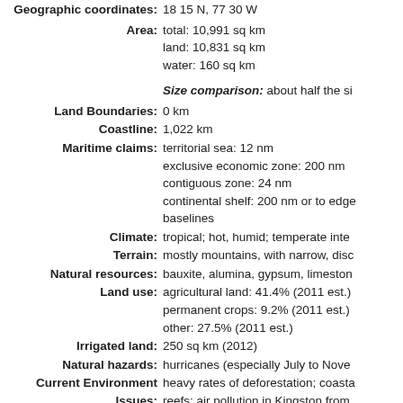Geographic coordinates: 18 15 N, 77 30 W
Area: total: 10,991 sq km; land: 10,831 sq km; water: 160 sq km
Size comparison: about half the si...
Land Boundaries: 0 km
Coastline: 1,022 km
Maritime claims: territorial sea: 12 nm; exclusive economic zone: 200 nm; contiguous zone: 24 nm; continental shelf: 200 nm or to edge baselines
Climate: tropical; hot, humid; temperate inte...
Terrain: mostly mountains, with narrow, disc...
Natural resources: bauxite, alumina, gypsum, limeston...
Land use: agricultural land: 41.4% (2011 est.); permanent crops: 9.2% (2011 est.); other: 27.5% (2011 est.)
Irrigated land: 250 sq km (2012)
Natural hazards: hurricanes (especially July to Nove...
Current Environment Issues: heavy rates of deforestation; coastal reefs; air pollution in Kingston from...
International Environment Agreements: party to: Biodiversity, Climate Chan... Hazardous Wastes, Law of the Sea... Pollution, Wetlands
signed, but not ratified: none of the...